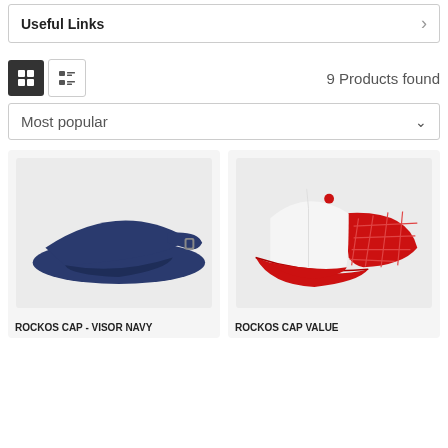Useful Links
9 Products found
Most popular
[Figure (photo): Navy blue sun visor cap product photo on light grey background]
[Figure (photo): Red and white trucker mesh cap product photo on light grey background]
ROCKOS CAP - VISOR NAVY
ROCKOS CAP VALUE